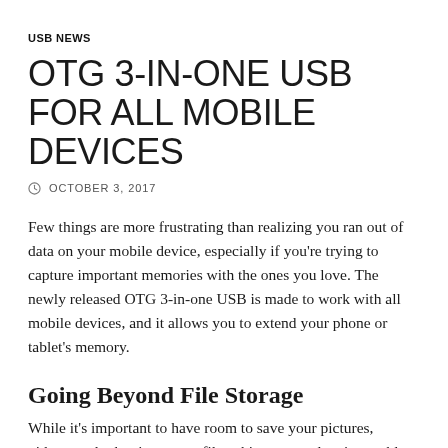USB NEWS
OTG 3-IN-ONE USB FOR ALL MOBILE DEVICES
OCTOBER 3, 2017
Few things are more frustrating than realizing you ran out of data on your mobile device, especially if you're trying to capture important memories with the ones you love. The newly released OTG 3-in-one USB is made to work with all mobile devices, and it allows you to extend your phone or tablet's memory.
Going Beyond File Storage
While it's important to have room to save your pictures, videos, and other important files, this new product is capable of going above and beyond. With it, you can also back up your